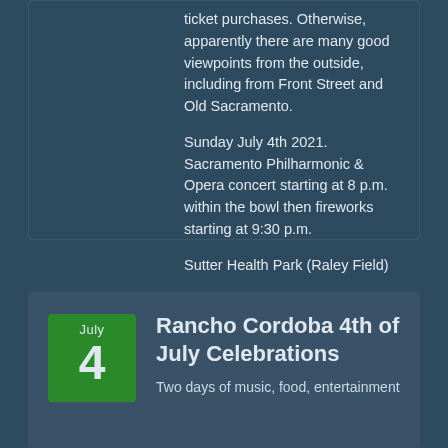ticket purchases. Otherwise, apparently there are many good viewpoints from the outside, including from Front Street and Old Sacramento.
Sunday July 4th 2021. Sacramento Philharmonic & Opera concert starting at 8 p.m. within the bowl then fireworks starting at 9:30 p.m.
Sutter Health Park (Raley Field)
More Sutter Health Park fireworks information
Update event
Rancho Cordoba 4th of July Celebrations
Two days of music, food, entertainment